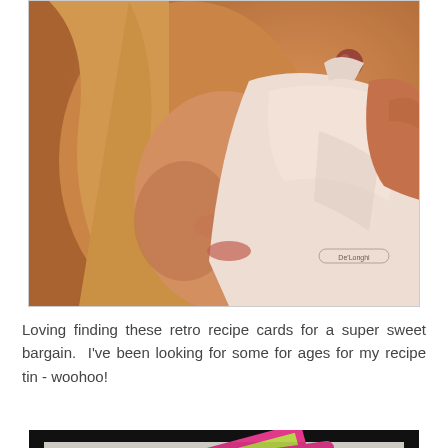[Figure (photo): A blonde woman pressing her face/lips against a white De'Longhi appliance (kettle or coffee maker), photographed in warm vintage/retro tones. The De'Longhi logo is visible on the white appliance.]
Loving finding these retro recipe cards for a super sweet bargain.  I've been looking for some for ages for my recipe tin - woohoo!
[Figure (photo): Retro recipe cards with green and pink design, featuring a comic-style illustration of a woman. Text on the card reads 'This is what happens when you skip the step'.]